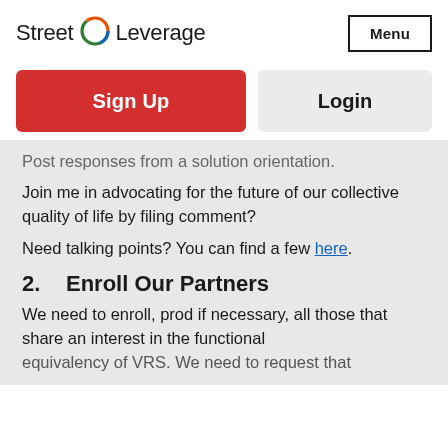Street Leverage | Menu
Sign Up
Login
Post responses from a solution orientation.
Join me in advocating for the future of our collective quality of life by filing comment?
Need talking points? You can find a few here.
2. Enroll Our Partners
We need to enroll, prod if necessary, all those that share an interest in the functional equivalency of VRS. We need to request that